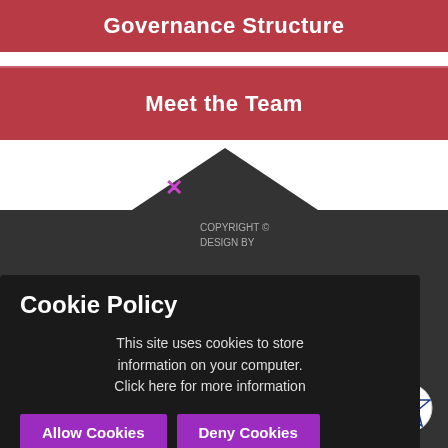Governance Structure
Meet the Team
Our Governors
COPYRIGHT © DESIGN BY
Cookie Policy
This site uses cookies to store information on your computer. Click here for more information
Allow Cookies
Deny Cookies
[Figure (logo): Smiley face child logo]
[Figure (logo): Tree/leaf badge logo with circular design]